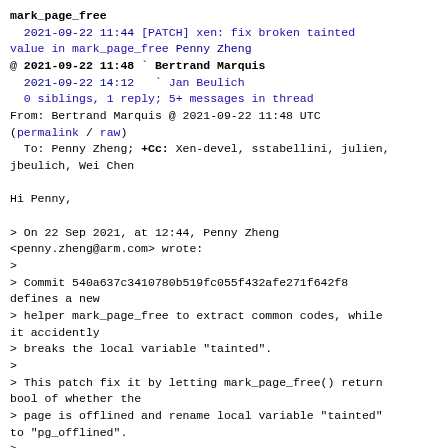mark_page_free
  2021-09-22 11:44 [PATCH] xen: fix broken tainted value in mark_page_free Penny Zheng
@ 2021-09-22 11:48 ` Bertrand Marquis
  2021-09-22 14:12   ` Jan Beulich
  0 siblings, 1 reply; 5+ messages in thread
From: Bertrand Marquis @ 2021-09-22 11:48 UTC
(permalink / raw)
  To: Penny Zheng; +Cc: Xen-devel, sstabellini, julien, jbeulich, Wei Chen

Hi Penny,

> On 22 Sep 2021, at 12:44, Penny Zheng
<penny.zheng@arm.com> wrote:
>
> Commit 540a637c3410780b519fc055f432afe271f642f8 defines a new
> helper mark_page_free to extract common codes, while it accidently
> breaks the local variable "tainted".
>
> This patch fix it by letting mark_page_free() return bool of whether the
> page is offlined and rename local variable "tainted" to "pg_offlined".
>
> Coverity ID: 1491872
>
> Fixes: 540a637c3410780b519fc055f432afe271f642f8